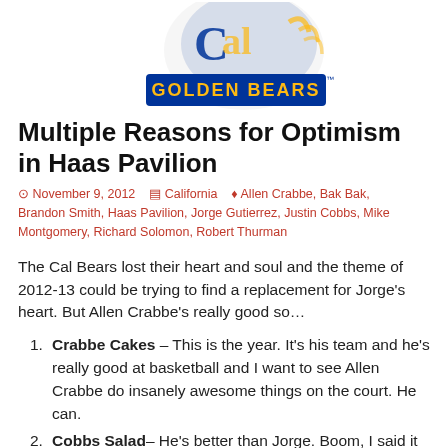[Figure (logo): Cal Golden Bears logo with blue and gold bear claw and text GOLDEN BEARS]
Multiple Reasons for Optimism in Haas Pavilion
November 9, 2012   California   Allen Crabbe, Bak Bak, Brandon Smith, Haas Pavilion, Jorge Gutierrez, Justin Cobbs, Mike Montgomery, Richard Solomon, Robert Thurman
The Cal Bears lost their heart and soul and the theme of 2012-13 could be trying to find a replacement for Jorge’s heart. But Allen Crabbe’s really good so…
Crabbe Cakes – This is the year. It’s his team and he’s really good at basketball and I want to see Allen Crabbe do insanely awesome things on the court. He can.
Cobbs Salad– He’s better than Jorge. Boom, I said it